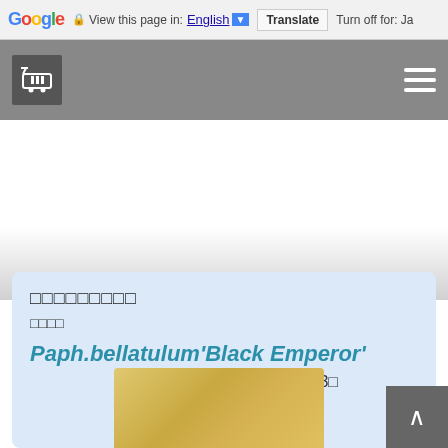Google  View this page in: English [▼]  Translate  Turn off for: Ja
[Figure (screenshot): Navigation bar with shopping cart icon on left and hamburger menu icon on right, dark gray background]
[Figure (photo): White area with gradient fading to gray, advertisement area]
□□□□□□□□□
□□□□
Paph.bellatulum'Black Emperor'
12□ 13□
[Figure (photo): Product photo of Paph.bellatulum 'Black Emperor' orchid flower, partially visible at bottom]